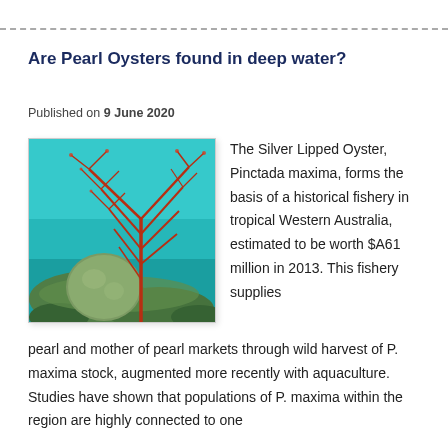Are Pearl Oysters found in deep water?
Published on 9 June 2020
[Figure (photo): Underwater photograph showing a red sea fan coral and a large rounded sponge or coral head on a turquoise reef background.]
The Silver Lipped Oyster, Pinctada maxima, forms the basis of a historical fishery in tropical Western Australia, estimated to be worth $A61 million in 2013. This fishery supplies pearl and mother of pearl markets through wild harvest of P. maxima stock, augmented more recently with aquaculture. Studies have shown that populations of P. maxima within the region are highly connected to one